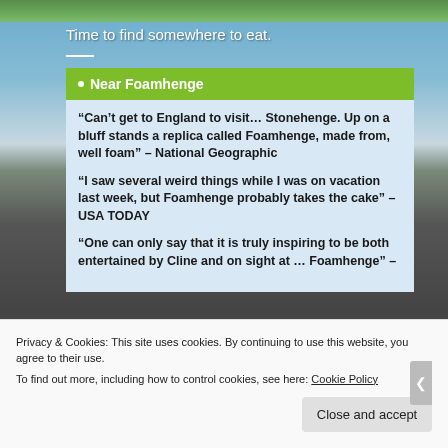[Figure (photo): Top strip showing green grass/landscape]
Time to find somewhere to eat.
Near Foamhenge
“Can’t get to England to visit… Stonehenge. Up on a bluff stands a replica called Foamhenge, made from, well foam” – National Geographic
“I saw several weird things while I was on vacation last week, but Foamhenge probably takes the cake” – USA TODAY
“One can only say that it is truly inspiring to be both entertained by Cline and on sight at … Foamhenge” –
Privacy & Cookies: This site uses cookies. By continuing to use this website, you agree to their use.
To find out more, including how to control cookies, see here: Cookie Policy
Close and accept